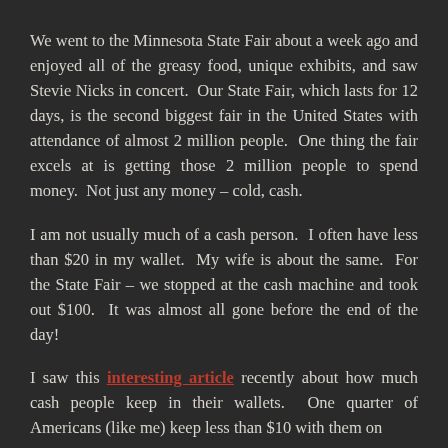We went to the Minnesota State Fair about a week ago and enjoyed all of the greasy food, unique exhibits, and saw Stevie Nicks in concert.  Our State Fair, which lasts for 12 days, is the second biggest fair in the United States with attendance of almost 2 million people.  One thing the fair excels at is getting those 2 million people to spend money.  Not just any money – cold, cash.
I am not usually much of a cash person.  I often have less than $20 in my wallet.  My wife is about the same.  For the State Fair – we stopped at the cash machine and took out $100.  It was almost all gone before the end of the day!
I saw this interesting article recently about how much cash people keep in their wallets.  One quarter of Americans (like me) keep less than $10 with them on